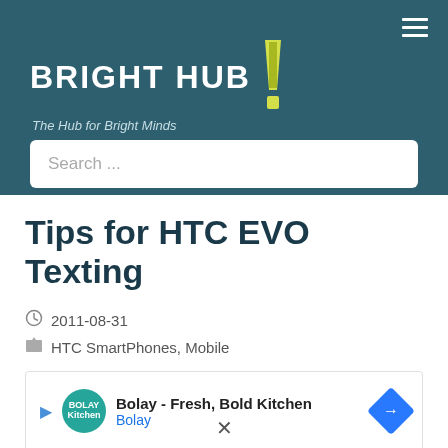BRIGHT HUB - The Hub for Bright Minds
Tips for HTC EVO Texting
2011-08-31
HTC SmartPhones, Mobile
[Figure (other): Advertisement for Bolay - Fresh, Bold Kitchen with green circular logo and blue arrow navigation icon]